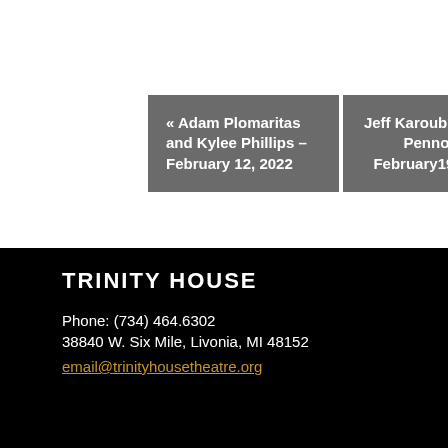« Adam Plomaritas and Kylee Phillips – February 12, 2022
Jeff Karoub w/ Bobby Pennock – February19, 2022 »
TRINITY HOUSE
Phone: (734) 464.6302
38840 W. Six Mile, Livonia, MI 48152
email@trinityhousetheatre.org